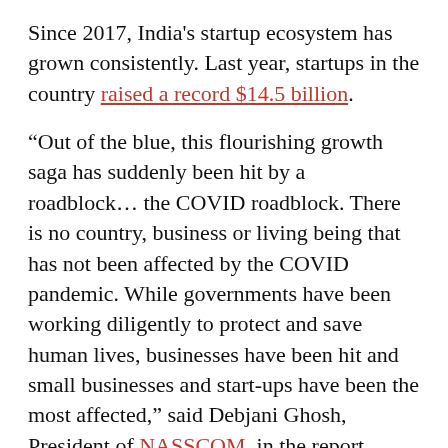Since 2017, India's startup ecosystem has grown consistently. Last year, startups in the country raised a record $14.5 billion.
“Out of the blue, this flourishing growth saga has suddenly been hit by a roadblock… the COVID roadblock. There is no country, business or living being that has not been affected by the COVID pandemic. While governments have been working diligently to protect and save human lives, businesses have been hit and small businesses and start-ups have been the most affected,” said Debjani Ghosh, President of NASSCOM, in the report.
This article was originally published by Google.com. Read the original article here.